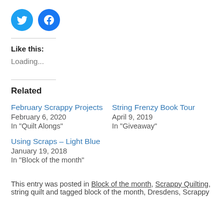[Figure (other): Two circular social media share buttons: Twitter (blue bird icon) and Facebook (blue F icon)]
Like this:
Loading...
Related
February Scrappy Projects
February 6, 2020
In "Quilt Alongs"
String Frenzy Book Tour
April 9, 2019
In "Giveaway"
Using Scraps – Light Blue
January 19, 2018
In "Block of the month"
This entry was posted in Block of the month, Scrappy Quilting, string quilt and tagged block of the month, Dresdens, Scrappy